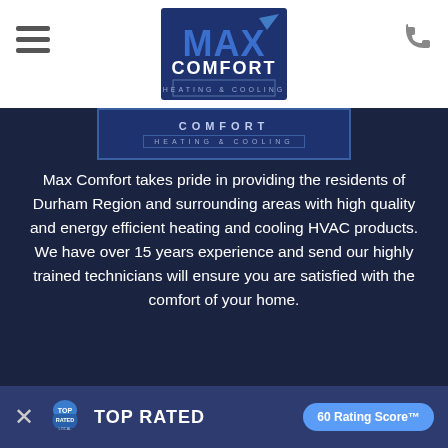Max Comfort Heating & Cooling — navigation header with hamburger menu, logo, and phone icon
[Figure (logo): Max Comfort Heating & Cooling logo with blue background banner showing HEATING & COOLING text]
Max Comfort takes pride in providing the residents of Durham Region and surrounding areas with high quality and energy efficient heating and cooling HVAC products. We have over 15 years experience and send our highly trained technicians will ensure you are satisfied with the comfort of your home.
Quick Links
Home
Services
Rental / Financing
Testimonials
More Info
[Figure (infographic): Top Rated Local advertisement bar with close button, Top Rated Local logo, and 60 Rating Score badge]